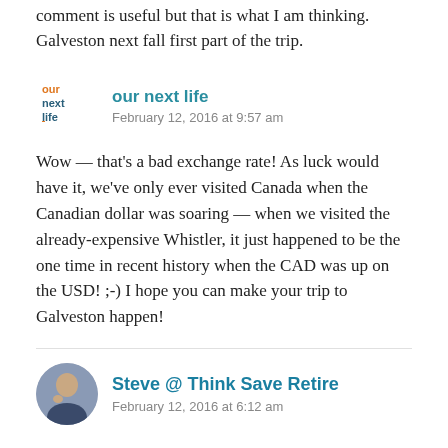comment is useful but that is what I am thinking. Galveston next fall first part of the trip.
our next life
February 12, 2016 at 9:57 am
Wow — that's a bad exchange rate! As luck would have it, we've only ever visited Canada when the Canadian dollar was soaring — when we visited the already-expensive Whistler, it just happened to be the one time in recent history when the CAD was up on the USD! ;-) I hope you can make your trip to Galveston happen!
Steve @ Think Save Retire
February 12, 2016 at 6:12 am